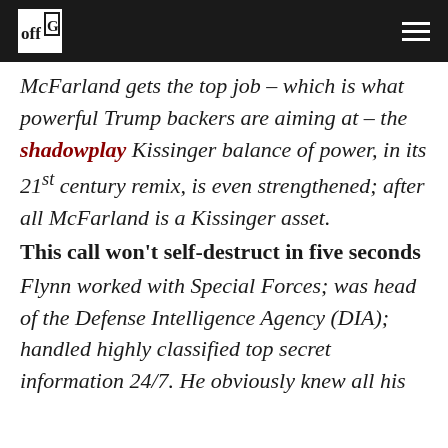offG [logo] [hamburger menu]
McFarland gets the top job – which is what powerful Trump backers are aiming at – the shadowplay Kissinger balance of power, in its 21st century remix, is even strengthened; after all McFarland is a Kissinger asset.
This call won't self-destruct in five seconds
Flynn worked with Special Forces; was head of the Defense Intelligence Agency (DIA); handled highly classified top secret information 24/7. He obviously knew all his